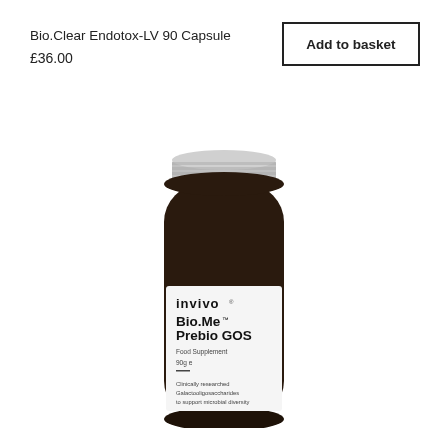Bio.Clear Endotox-LV 90 Capsule
£36.00
Add to basket
[Figure (photo): Dark amber glass supplement bottle with silver screw cap, white label reading 'invivo Bio.Me Prebio GOS Food Supplement 90g e, Clinically researched Galactooligosaccharides to support microbial diversity']